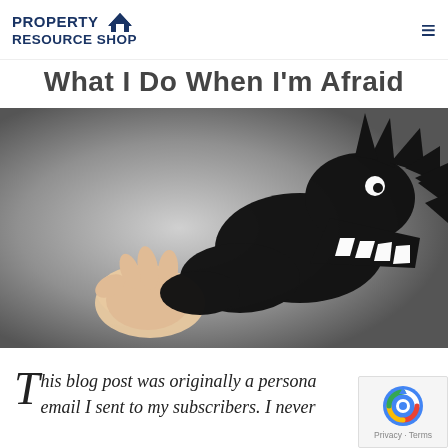PROPERTY RESOURCE SHOP
What I Do When I'm Afraid
[Figure (photo): A hand casting a shadow puppet that looks like a menacing monster/dragon with sharp teeth and claws, against a grey gradient background. The actual hand is visible in the lower left, while the shadow dominates most of the image.]
This blog post was originally a personal email I sent to my subscribers. I never